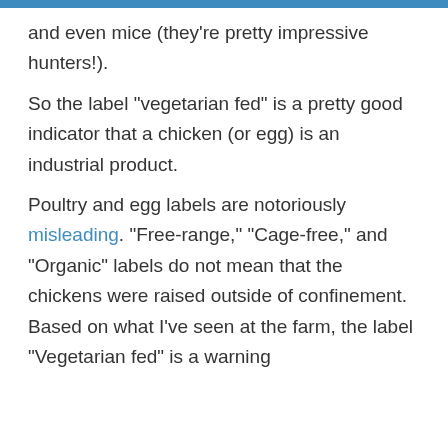and even mice (they’re pretty impressive hunters!).
So the label “vegetarian fed” is a pretty good indicator that a chicken (or egg) is an industrial product.
Poultry and egg labels are notoriously misleading. “Free-range,” “Cage-free,” and “Organic” labels do not mean that the chickens were raised outside of confinement. Based on what I’ve seen at the farm, the label “Vegetarian fed” is a warning